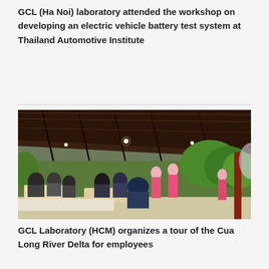GCL (Ha Noi) laboratory attended the workshop on developing an electric vehicle battery test system at Thailand Automotive Institute
[Figure (photo): Group of people seated at tables under an open-air thatched roof pavilion, with women in pink ao dai standing among them. Lush greenery visible in the background.]
GCL Laboratory (HCM) organizes a tour of the Cua Long River Delta for employees